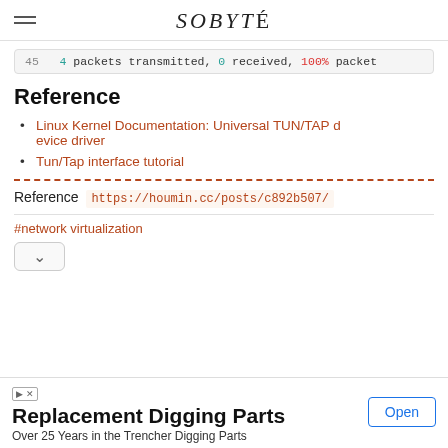SOBYTE
45   4 packets transmitted, 0 received, 100% packet
Reference
Linux Kernel Documentation: Universal TUN/TAP device driver
Tun/Tap interface tutorial
Reference  https://houmin.cc/posts/c892b507/
#network virtualization
Replacement Digging Parts
Over 25 Years in the Trencher Digging Parts